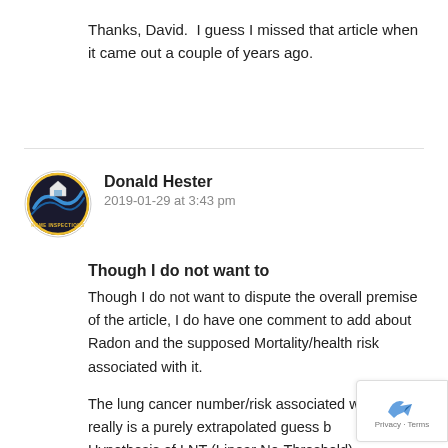Thanks, David.  I guess I missed that article when it came out a couple of years ago.
Donald Hester
2019-01-29 at 3:43 pm
Though I do not want to
Though I do not want to dispute the overall premise of the article, I do have one comment to add about Radon and the supposed Mortality/health risk associated with it.
The lung cancer number/risk associated with it really is a purely extrapolated guess based on a Hypothesis of LNT (Linear No-Threshold)